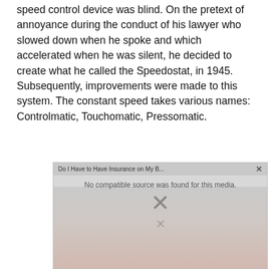speed control device was blind. On the pretext of annoyance during the conduct of his lawyer who slowed down when he spoke and which accelerated when he was silent, he decided to create what he called the Speedostat, in 1945. Subsequently, improvements were made to this system. The constant speed takes various names: Controlmatic, Touchomatic, Pressomatic.
[Figure (screenshot): A video player embed showing an error state: title bar reads 'Do I Have to Have Insurance on My B...' with a close button. The player body shows 'No compatible source was found for this media.' with a large X icon. Background shows a blurred reddish image.]